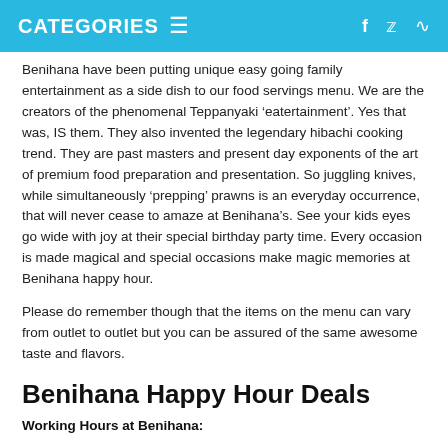CATEGORIES ≡   f 🐦 ⦿
Benihana have been putting unique easy going family entertainment as a side dish to our food servings menu. We are the creators of the phenomenal Teppanyaki ‘eatertainment’. Yes that was, IS them. They also invented the legendary hibachi cooking trend. They are past masters and present day exponents of the art of premium food preparation and presentation. So juggling knives, while simultaneously ‘prepping’ prawns is an everyday occurrence, that will never cease to amaze at Benihana’s. See your kids eyes go wide with joy at their special birthday party time. Every occasion is made magical and special occasions make magic memories at Benihana happy hour.
Please do remember though that the items on the menu can vary from outlet to outlet but you can be assured of the same awesome taste and flavors.
Benihana Happy Hour Deals
Working Hours at Benihana: